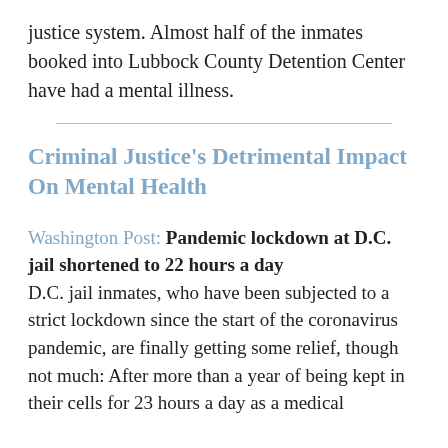justice system. Almost half of the inmates booked into Lubbock County Detention Center have had a mental illness.
Criminal Justice's Detrimental Impact On Mental Health
Washington Post: Pandemic lockdown at D.C. jail shortened to 22 hours a day D.C. jail inmates, who have been subjected to a strict lockdown since the start of the coronavirus pandemic, are finally getting some relief, though not much: After more than a year of being kept in their cells for 23 hours a day as a medical